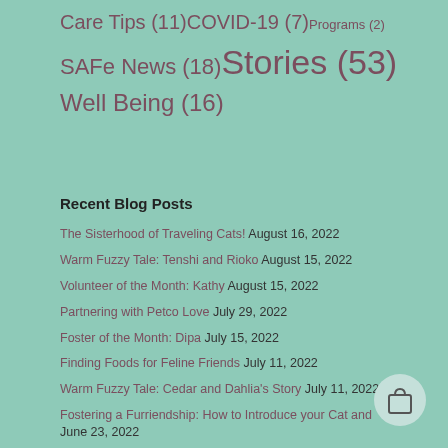Care Tips (11) COVID-19 (7) Programs (2)
SAFe News (18) Stories (53)
Well Being (16)
Recent Blog Posts
The Sisterhood of Traveling Cats! August 16, 2022
Warm Fuzzy Tale: Tenshi and Rioko August 15, 2022
Volunteer of the Month: Kathy August 15, 2022
Partnering with Petco Love July 29, 2022
Foster of the Month: Dipa July 15, 2022
Finding Foods for Feline Friends July 11, 2022
Warm Fuzzy Tale: Cedar and Dahlia's Story July 11, 2022
Fostering a Furriendship: How to Introduce your Cat and June 23, 2022
Volunteer of the Month: Amethyst June 21, 2022
Warm Fuzzy Tale: Nala's Story June 21, 2022